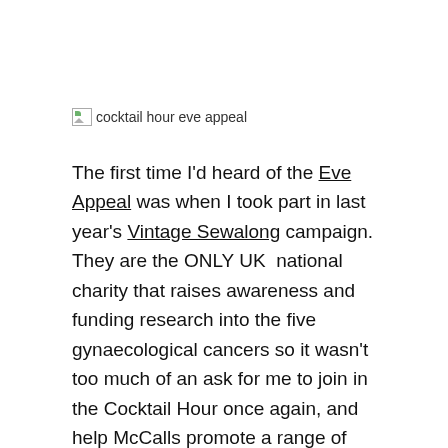[Figure (other): Broken image placeholder with alt text 'cocktail hour eve appeal']
The first time I'd heard of the Eve Appeal was when I took part in last year's Vintage Sewalong campaign. They are the ONLY UK national charity that raises awareness and funding research into the five gynaecological cancers so it wasn't too much of an ask for me to join in the Cocktail Hour once again, and help McCalls promote a range of Vogue patterns that raise good money for such a great cause.
Last year I made Retro Butterick 5813 for the Big